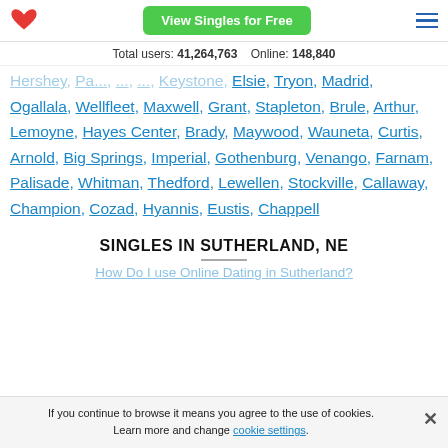View Singles for Free | Total users: 41,264,763 | Online: 148,840
Hershey, Pa..., ..., ..., Keystone, Elsie, Tryon, Madrid, Ogallala, Wellfleet, Maxwell, Grant, Stapleton, Brule, Arthur, Lemoyne, Hayes Center, Brady, Maywood, Wauneta, Curtis, Arnold, Big Springs, Imperial, Gothenburg, Venango, Farnam, Palisade, Whitman, Thedford, Lewellen, Stockville, Callaway, Champion, Cozad, Hyannis, Eustis, Chappell
SINGLES IN SUTHERLAND, NE
How Do I use Online Dating in Sutherland?
If you continue to browse it means you agree to the use of cookies. Learn more and change cookie settings.